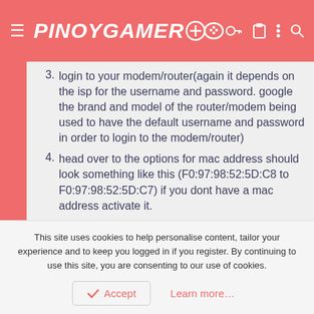PINOYGAMER
3. login to your modem/router(again it depends on the isp for the username and password. google the brand and model of the router/modem being used to have the default username and password in order to login to the modem/router)
4. head over to the options for mac address should look something like this (F0:97:98:52:5D:C8 to F0:97:98:52:5D:C7) if you dont have a mac address activate it.
5. change a single letter or number(i prefer changing the last number or letter)
6. boom new ip restart router and turn on your ps4
This site uses cookies to help personalise content, tailor your experience and to keep you logged in if you register. By continuing to use this site, you are consenting to our use of cookies.